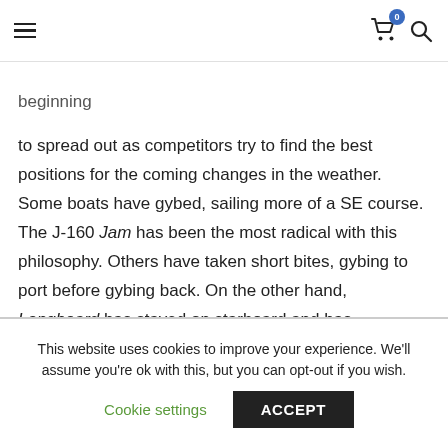Navigation bar with hamburger menu, cart icon (badge: 0), and search icon
beginning

to spread out as competitors try to find the best positions for the coming changes in the weather. Some boats have gybed, sailing more of a SE course. The J-160 Jam has been the most radical with this philosophy. Others have taken short bites, gybing to port before gybing back. On the other hand, Longboard has stayed on starboard and has continued to make money, as they have positioned themselves well to the south of the rest of the fleet. They are looking good. Some of their success can be attributed
This website uses cookies to improve your experience. We'll assume you're ok with this, but you can opt-out if you wish.
Cookie settings  ACCEPT